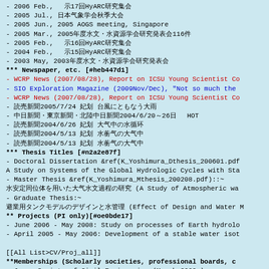- 2006 Feb., 第17回HyARC研究集会…
- 2005 Jul., 日本気象学会春季大会
- 2005 Jun., 2005 AOGS meeting, Singapore
- 2005 Mar., 2005年度水文・水資源学会研究発表会116件
- 2005 Feb., 第16回HyARC研究集会…
- 2004 Feb., 第15回HyARC研究集会…
- 2003 May, 2003年度水文・水資源学会研究発表会…
*** Newspaper, etc. [#heb447d1]
- WCRP News (2007/08/28), Report on ICSU Young Scientist Co…
- SIO Exploration Magazine (2009Nov/Dec), "Not so much the…
- WCRP News (2007/08/28), Report on ICSU Young Scientist Co…
- 読売新聞2005/7/24 夕刊 台風にともなう大雨…
- 中日新聞・東京新聞・北陸中日新聞2004/6/20〜26日  HOT記事…
- 読売新聞2004/6/26 夕刊 大気中の水循環…
- 読売新聞2004/5/13 夕刊 水蒸気の大気中…
- 読売新聞2004/5/13 夕刊 水蒸気の大気中…
*** Thesis Titles [#n2a2e87f]
- Doctoral Dissertation &ref(K_Yoshimura_Dthesis_200601.pdf…
A Study on Systems of the Global Hydrologic Cycles with Sta…
- Master Thesis &ref(K_Yoshimura_Mthesis_200208.pdf)::~
水安定同位体を用いた大気水文過程の研究 (A Study of Atmospheric wa…
- Graduate Thesis:~
農業用タンクモデルのデザインと水管理 (Effect of Design and Water M…
** Projects (PI only)[#oe0bde17]
- June 2006 - May 2008: Study on processes of Earth hydrolo…
- April 2005 - May 2006: Development of a stable water isot…
[[All List>CV/Proj_all]]
**Memberships (Scholarly societies, professional boards, c…
- Japan Society of Civil Engineering (March 2000-)